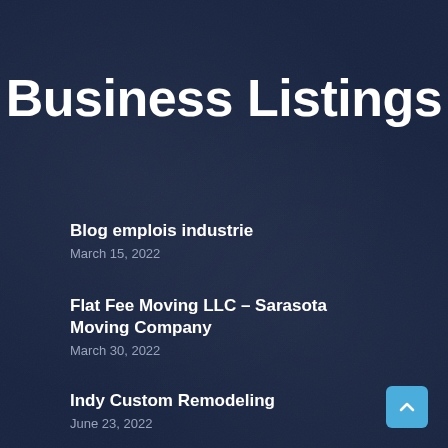Business Listings
Blog emplois industrie
March 15, 2022
Flat Fee Moving LLC – Sarasota Moving Company
March 30, 2022
Indy Custom Remodeling
June 23, 2022